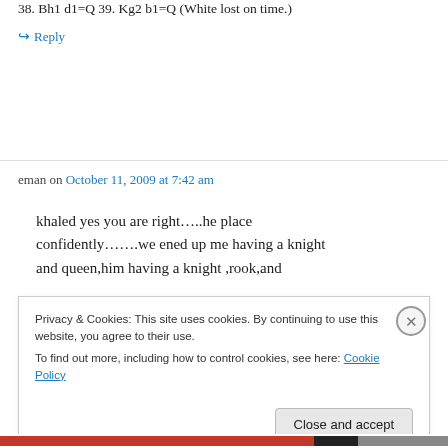38. Bh1 d1=Q 39. Kg2 b1=Q (White lost on time.)
↪ Reply
eman on October 11, 2009 at 7:42 am
khaled yes you are right…..he place confidently…….we ened up me having a knight and queen,him having a knight ,rook,and
Privacy & Cookies: This site uses cookies. By continuing to use this website, you agree to their use.
To find out more, including how to control cookies, see here: Cookie Policy
Close and accept